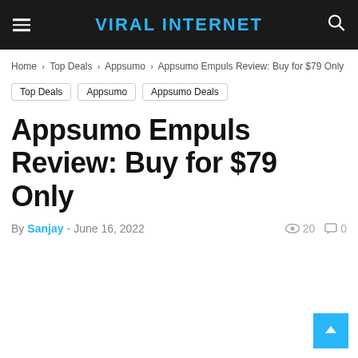VIRAL INTERNET
Home › Top Deals › Appsumo › Appsumo Empuls Review: Buy for $79 Only
Top Deals
Appsumo
Appsumo Deals
Appsumo Empuls Review: Buy for $79 Only
By Sanjay - June 16, 2022  👁 20  💬 0